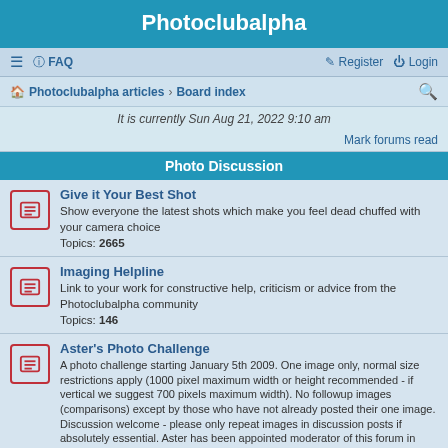Photoclubalpha
≡  FAQ    Register  Login
Photoclubalpha articles  ›  Board index
It is currently Sun Aug 21, 2022 9:10 am
Mark forums read
Photo Discussion
Give it Your Best Shot
Show everyone the latest shots which make you feel dead chuffed with your camera choice
Topics: 2665
Imaging Helpline
Link to your work for constructive help, criticism or advice from the Photoclubalpha community
Topics: 146
Aster's Photo Challenge
A photo challenge starting January 5th 2009. One image only, normal size restrictions apply (1000 pixel maximum width or height recommended - if vertical we suggest 700 pixels maximum width). No followup images (comparisons) except by those who have not already posted their one image. Discussion welcome - please only repeat images in discussion posts if absolutely essential. Aster has been appointed moderator of this forum in recognition of her commitment to making it great fun. This does not prevent others from setting challenges!
Moderator: aster
Topics: 147